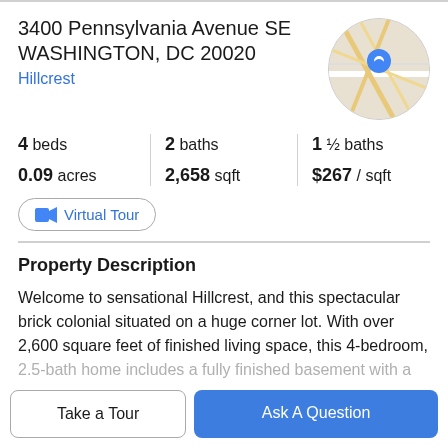3400 Pennsylvania Avenue SE
WASHINGTON, DC 20020
Hillcrest
[Figure (map): Circular map thumbnail showing a location pin on a street map near the property address]
4 beds | 2 baths | 1 ½ baths
0.09 acres | 2,658 sqft | $267 / sqft
Virtual Tour
Property Description
Welcome to sensational Hillcrest, and this spectacular brick colonial situated on a huge corner lot. With over 2,600 square feet of finished living space, this 4-bedroom,
2.5-bath home includes a fully finished basement with a
Take a Tour
Ask A Question